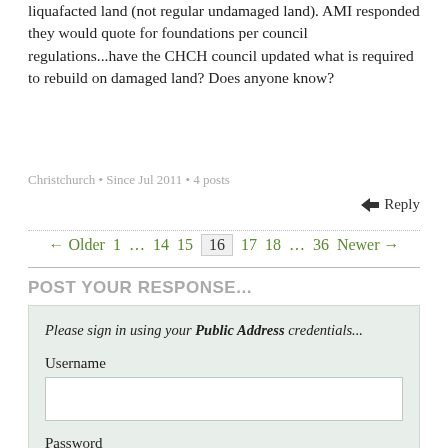liquafacted land (not regular undamaged land). AMI responded they would quote for foundations per council regulations...have the CHCH council updated what is required to rebuild on damaged land? Does anyone know?
Christchurch • Since Jul 2011 • 4 posts
Reply
← Older  1 … 14  15  16  17  18 … 36  Newer →
POST YOUR RESPONSE...
Please sign in using your Public Address credentials...
Username
Password